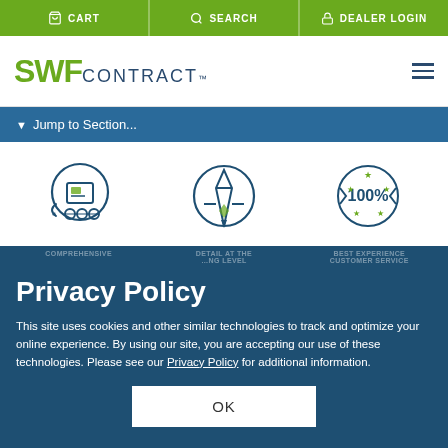CART  SEARCH  DEALER LOGIN
[Figure (logo): SWF Contract logo with hamburger menu icon]
Jump to Section...
[Figure (illustration): Three circular icons: manufacturing/conveyor, pencil/ruler design tool, and 100% badge]
COMPREHENSIVE  DETAIL AT THE  BEST EXPERIENCE  ...LEVEL  CUSTOMER SERVICE
Privacy Policy
This site uses cookies and other similar technologies to track and optimize your online experience. By using our site, you are accepting our use of these technologies. Please see our Privacy Policy for additional information.
OK
Controls